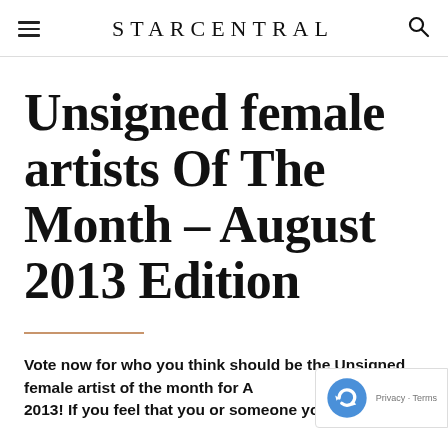STARCENTRAL
Unsigned female artists Of The Month – August 2013 Edition
Vote now for who you think should be the Unsigned female artist of the month for August 2013! If you feel that you or someone you know